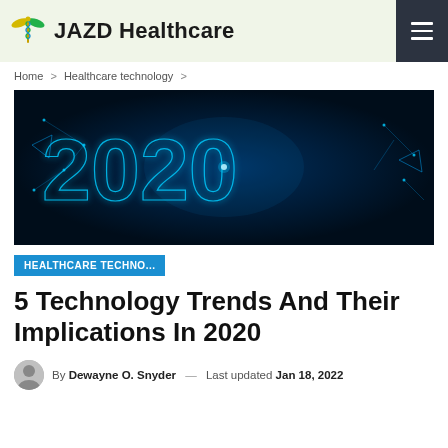JAZD Healthcare
Home > Healthcare technology >
[Figure (photo): Dark blue digital background with glowing blue wireframe '2020' text with network connection lines and dots]
HEALTHCARE TECHNO...
5 Technology Trends And Their Implications In 2020
By Dewayne O. Snyder — Last updated Jan 18, 2022